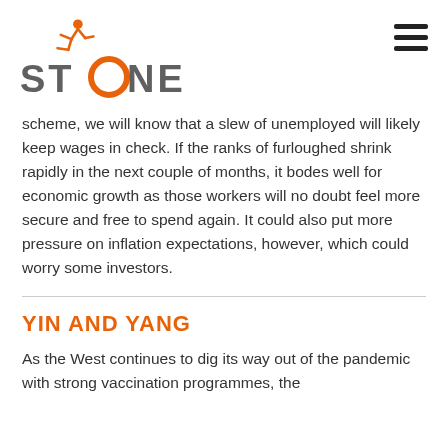[Figure (logo): STONE logo with orange running figure above the text]
scheme, we will know that a slew of unemployed will likely keep wages in check. If the ranks of furloughed shrink rapidly in the next couple of months, it bodes well for economic growth as those workers will no doubt feel more secure and free to spend again. It could also put more pressure on inflation expectations, however, which could worry some investors.
YIN AND YANG
As the West continues to dig its way out of the pandemic with strong vaccination programmes, the